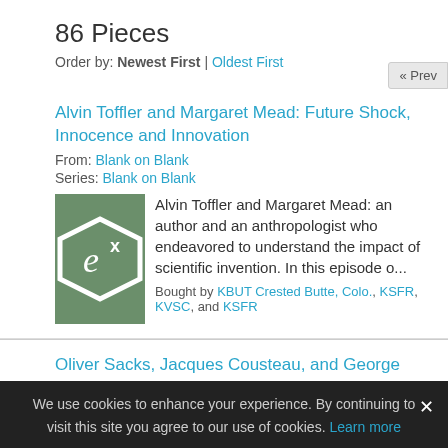86 Pieces
Order by: Newest First | Oldest First
Alvin Toffler and Margaret Mead: Future Shock, Innocence and Innovation
From: Blank on Blank
Series: Blank on Blank
Alvin Toffler and Margaret Mead: an author and an anthropologist who endeavored to understand the impact of scientific invention. In this episode o...
Bought by KBUT Crested Butte, Colo., KSFR, KVSC, and KSFR
Oliver Sacks, Jacques Cousteau, and George Washington Car...
From: Blank on Blank
Series: Blank on Blank
Peanuts, Atlantis, and Colorblindness. It's our latest epis...
We use cookies to enhance your experience. By continuing to visit this site you agree to our use of cookies. Learn more